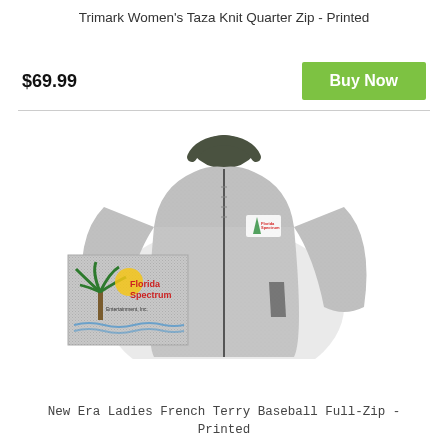Trimark Women's Taza Knit Quarter Zip - Printed
$69.99
Buy Now
[Figure (photo): Grey women's zip-up jacket with a Florida Spectrum logo printed on the left chest area and an inset close-up of the logo patch]
New Era Ladies French Terry Baseball Full-Zip - Printed